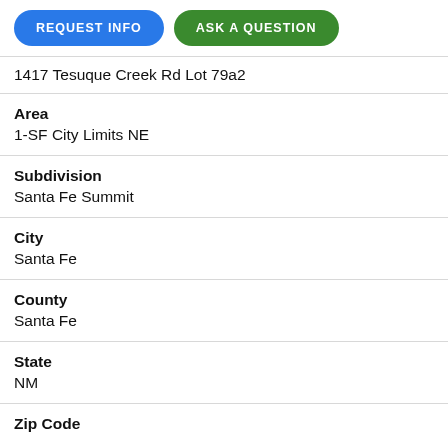[Figure (other): Two buttons: REQUEST INFO (blue) and ASK A QUESTION (green)]
1417 Tesuque Creek Rd Lot 79a2
Area
1-SF City Limits NE
Subdivision
Santa Fe Summit
City
Santa Fe
County
Santa Fe
State
NM
Zip Code